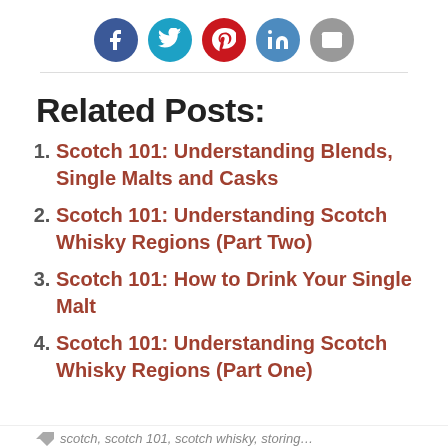[Figure (infographic): Row of 5 social media sharing icons (Facebook, Twitter, Pinterest, LinkedIn, Email) as colored circles with white icons]
Related Posts:
Scotch 101: Understanding Blends, Single Malts and Casks
Scotch 101: Understanding Scotch Whisky Regions (Part Two)
Scotch 101: How to Drink Your Single Malt
Scotch 101: Understanding Scotch Whisky Regions (Part One)
scotch, scotch 101, scotch whisky, storing…